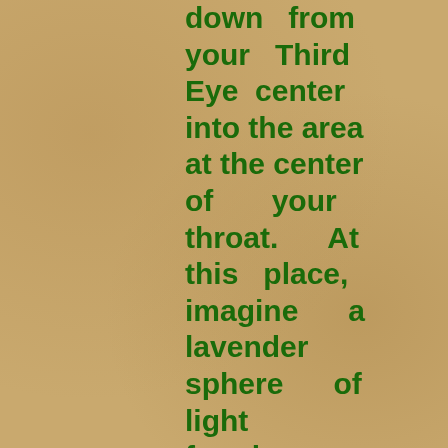Running down from your Third Eye center into the area at the center of your throat. At this place, imagine a lavender sphere of light forming. Vibrate the Name: “Yaweh Elohim” at least three times. Imagine that the light and